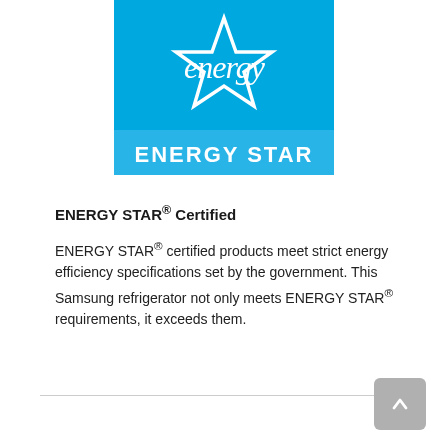[Figure (logo): ENERGY STAR logo — blue square with cursive 'energy' text and a white star outline in the upper portion, and 'ENERGY STAR' text in a lighter blue bar at the bottom]
ENERGY STAR® Certified
ENERGY STAR® certified products meet strict energy efficiency specifications set by the government. This Samsung refrigerator not only meets ENERGY STAR® requirements, it exceeds them.